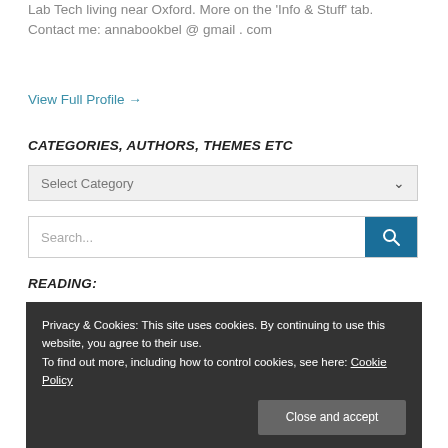Lab Tech living near Oxford. More on the 'Info & Stuff' tab. Contact me: annabookbel @ gmail . com
View Full Profile →
CATEGORIES, AUTHORS, THEMES ETC
Select Category
Search...
READING:
[Figure (screenshot): Dark book cover with green cursive title text and white illustrated figures at bottom]
Privacy & Cookies: This site uses cookies. By continuing to use this website, you agree to their use. To find out more, including how to control cookies, see here: Cookie Policy
Close and accept